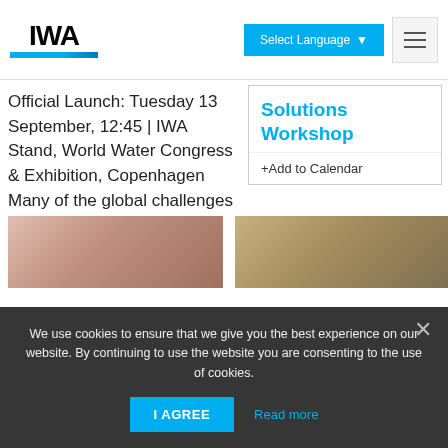IWA | Select Language | Menu
Official Launch: Tuesday 13 September, 12:45 | IWA Stand, World Water Congress & Exhibition, Copenhagen Many of the global challenges such as urbanisation, ...
Solutions Workshop
+Add to Calendar
[Figure (photo): Close-up image on the left side, lower section]
[Figure (photo): Landscape/outdoor image on the right side, lower section]
We use cookies to ensure that we give you the best experience on our website. By continuing to use the website you are consenting to the use of cookies.
I AGREE
Read more